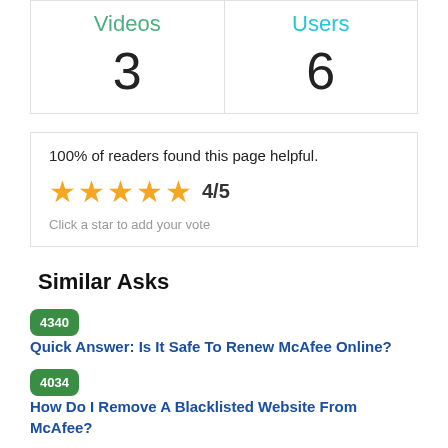| Videos | Users |
| --- | --- |
| 3 | 6 |
100% of readers found this page helpful.
4/5
Click a star to add your vote
Similar Asks
4340   Quick Answer: Is It Safe To Renew McAfee Online?
4034   How Do I Remove A Blacklisted Website From McAfee?
3365   Quick Answer: Mcafee Microsoft Edge